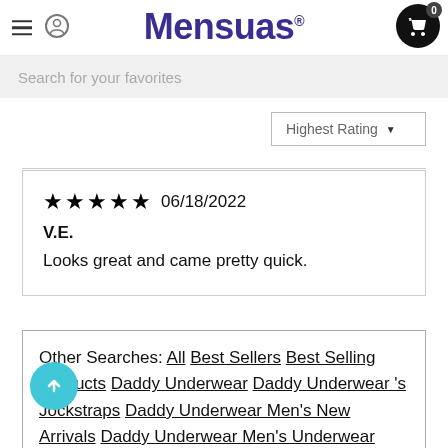Mensuas
Search for your favorites
Highest Rating ▼
★★★★★ 06/18/2022
V.E.
Looks great and came pretty quick.
Other Searches: All Best Sellers Best Selling Products Daddy Underwear Daddy Underwear 's Jockstraps Daddy Underwear Men's New Arrivals Daddy Underwear Men's Underwear